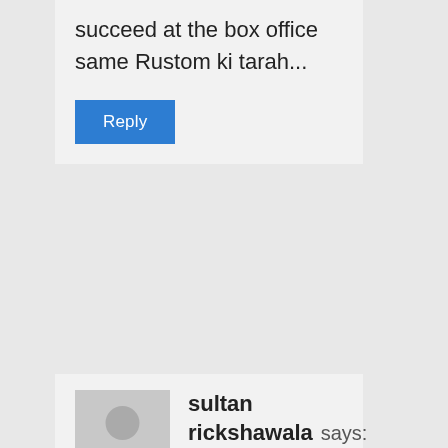succeed at the box office same Rustom ki tarah...
Reply
sultan rickshawala says:
08/18/2016 at 12:38 PM
Bolly please confirm this news SRK doing warrior in Aditya chopra magnum opus? next and Rohit shetty also sign